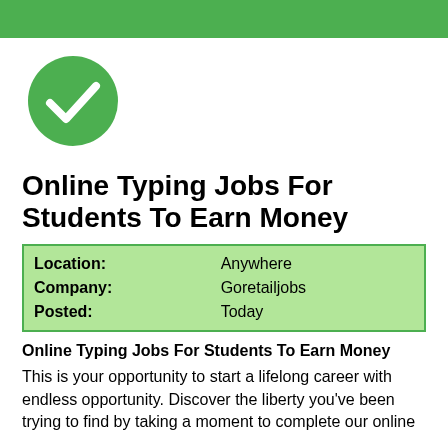[Figure (illustration): Green horizontal banner bar at the top of the page]
[Figure (illustration): Green circle with a white checkmark inside]
Online Typing Jobs For Students To Earn Money
| Location: | Anywhere |
| Company: | Goretailjobs |
| Posted: | Today |
Online Typing Jobs For Students To Earn Money
This is your opportunity to start a lifelong career with endless opportunity. Discover the liberty you've been trying to find by taking a moment to complete our online